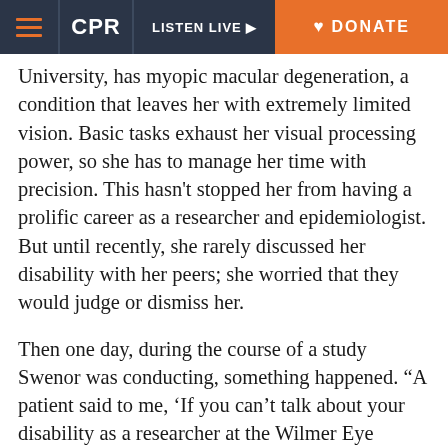CPR | LISTEN LIVE | DONATE
University, has myopic macular degeneration, a condition that leaves her with extremely limited vision. Basic tasks exhaust her visual processing power, so she has to manage her time with precision. This hasn't stopped her from having a prolific career as a researcher and epidemiologist. But until recently, she rarely discussed her disability with her peers; she worried that they would judge or dismiss her.
Then one day, during the course of a study Swenor was conducting, something happened. “A patient said to me, ‘If you can’t talk about your disability as a researcher at the Wilmer Eye Institute, then why should I?’ ” she remembers. She has thought about this every day since. “If people in scientific and